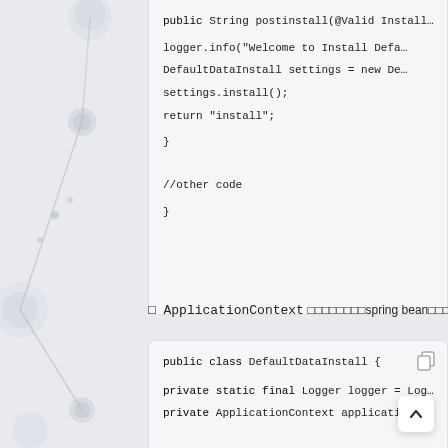[Figure (other): Background network graph decoration with dots and connecting lines on left side]
public String postinstall(@Valid  Install...
    logger.info("Welcome to Install Defa...
    DefaultDataInstall settings = new De...
    settings.install();
    return "install";
}

//other code
}
□ ApplicationContext □□□□□□□□spring bean□□□□□□□□.
public class DefaultDataInstall {

    private static final Logger logger = Log...
    private ApplicationContext applicationCo...